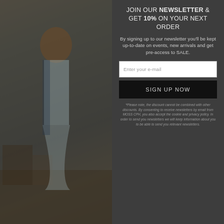[Figure (photo): A person with curly hair wearing a light blue dress, photographed outdoors near colorful background, image has a dark overlay]
JOIN OUR NEWSLETTER & GET 10% ON YOUR NEXT ORDER
By signing up to our newsletter you'll be kept up-to-date on events, new arrivals and get pre-access to SALE.
Enter your e-mail
SIGN UP NOW
*Please note, the discount cannot be combined with other discounts. By consenting to receive newsletters by email from MOSS CPH, you also accept the cookie and privacy policy. In order to send you newsletters we will keep information about you to be able to send you relevant newsletters.